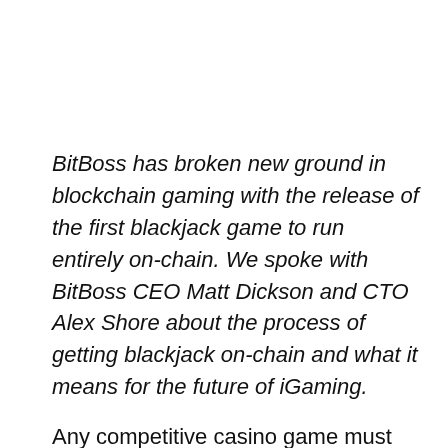BitBoss has broken new ground in blockchain gaming with the release of the first blackjack game to run entirely on-chain. We spoke with BitBoss CEO Matt Dickson and CTO Alex Shore about the process of getting blackjack on-chain and what it means for the future of iGaming.
Any competitive casino game must be